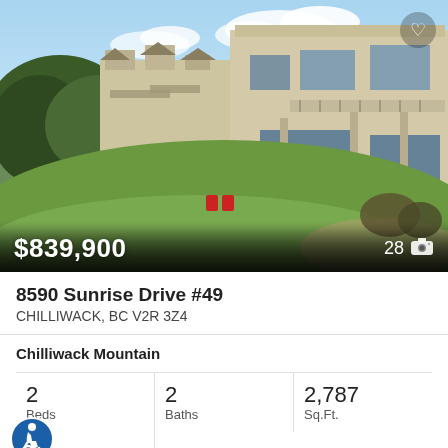[Figure (photo): Exterior photo of a multi-unit residential building with balconies, lawn, and blue sky. Two red chairs visible on lawn. Shows townhouse/condo complex at 8590 Sunrise Drive #49.]
$839,900
28
8590 Sunrise Drive #49
CHILLIWACK, BC V2R 3Z4
Chilliwack Mountain
2 Beds
2 Baths
2,787 Sq.Ft.
Century 21 Creekside Realty